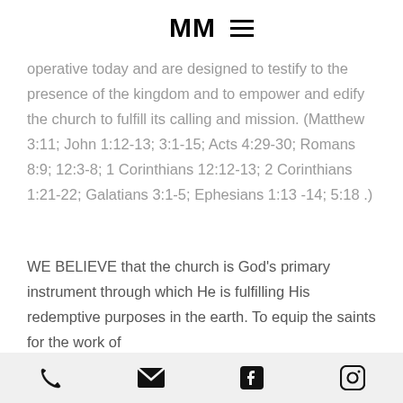RMM [logo with hamburger menu]
operative today and are designed to testify to the presence of the kingdom and to empower and edify the church to fulfill its calling and mission. (Matthew 3:11; John 1:12-13; 3:1-15; Acts 4:29-30; Romans 8:9; 12:3-8; 1 Corinthians 12:12-13; 2 Corinthians 1:21-22; Galatians 3:1-5; Ephesians 1:13 -14; 5:18 .)
WE BELIEVE that the church is God’s primary instrument through which He is fulfilling His redemptive purposes in the earth. To equip the saints for the work of
Phone | Email | Facebook | Instagram